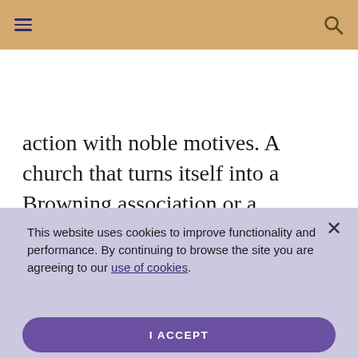[Figure (screenshot): Top navigation bar with hamburger menu icon on left and search icon on right, tan/gold background]
[Figure (screenshot): Toolbar with Contents, Listen, Share, Bookmark, Font size (active/bold), Languages icons and labels]
action with noble motives. A church that turns itself into a Browning association or a
This website uses cookies to improve functionality and performance. By continuing to browse the site you are agreeing to our use of cookies.
I ACCEPT